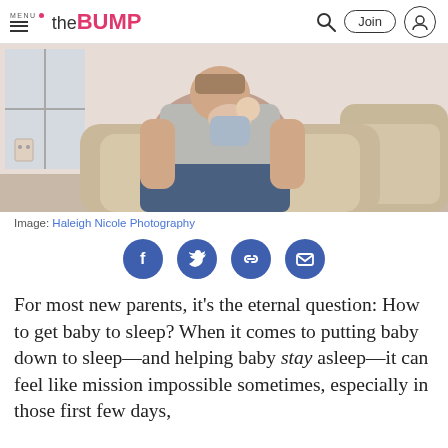MENU | the BUMP | [search] [Join] [profile]
[Figure (photo): A mother sitting in a beige armchair holding a sleeping newborn baby, wearing a grey t-shirt and jeans, in a light-toned room.]
Image: Haleigh Nicole Photography
[Figure (infographic): Social sharing icons row: Facebook, Twitter, Link, Email — dark blue circular buttons]
For most new parents, it’s the eternal question: How to get baby to sleep? When it comes to putting baby down to sleep—and helping baby stay asleep—it can feel like mission impossible sometimes, especially in those first few days,